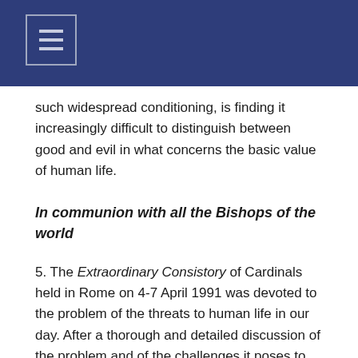such widespread conditioning, is finding it increasingly difficult to distinguish between good and evil in what concerns the basic value of human life.
In communion with all the Bishops of the world
5. The Extraordinary Consistory of Cardinals held in Rome on 4-7 April 1991 was devoted to the problem of the threats to human life in our day. After a thorough and detailed discussion of the problem and of the challenges it poses to the entire human family and in particular to the Christian